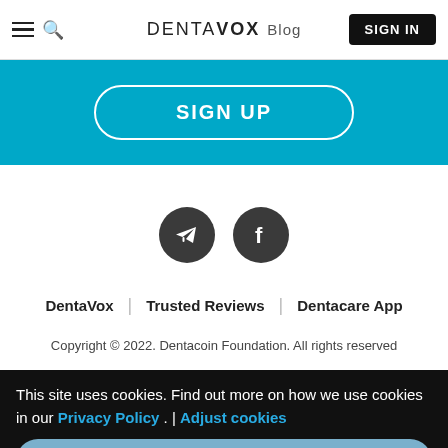DENTAVOX Blog | SIGN IN
SIGN UP
[Figure (illustration): Two dark circular social media icons: Telegram (paper plane) and Facebook (f logo)]
DentaVox | Trusted Reviews | Dentacare App
Copyright © 2022. Dentacoin Foundation. All rights reserved
This site uses cookies. Find out more on how we use cookies in our Privacy Policy . | Adjust cookies
Accept All Cookies